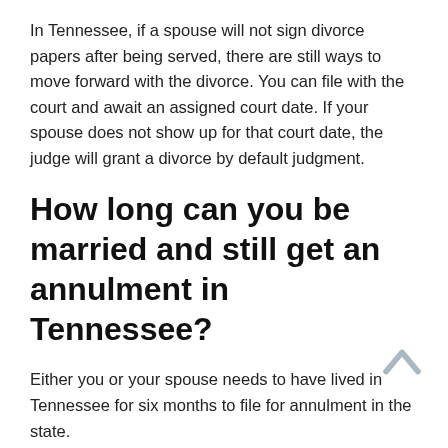In Tennessee, if a spouse will not sign divorce papers after being served, there are still ways to move forward with the divorce. You can file with the court and await an assigned court date. If your spouse does not show up for that court date, the judge will grant a divorce by default judgment.
How long can you be married and still get an annulment in Tennessee?
Either you or your spouse needs to have lived in Tennessee for six months to file for annulment in the state.
Is annulment cheaper than divorce?
Typically no. Unless there is a personal reason (i.e. for